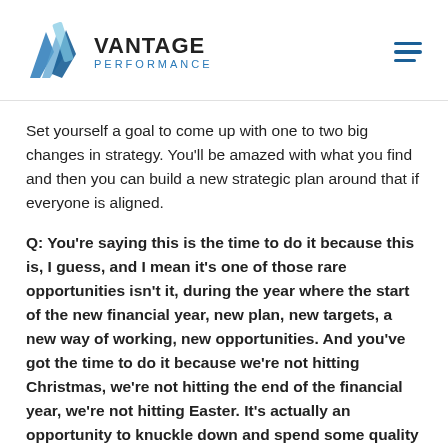VANTAGE PERFORMANCE
Set yourself a goal to come up with one to two big changes in strategy. You'll be amazed with what you find and then you can build a new strategic plan around that if everyone is aligned.
Q: You're saying this is the time to do it because this is, I guess, and I mean it's one of those rare opportunities isn't it, during the year where the start of the new financial year, new plan, new targets, a new way of working, new opportunities. And you've got the time to do it because we're not hitting Christmas, we're not hitting the end of the financial year, we're not hitting Easter. It's actually an opportunity to knuckle down and spend some quality time on this stuff.
A: Yeah, I mean the ideal time to do it, if your financial year end as